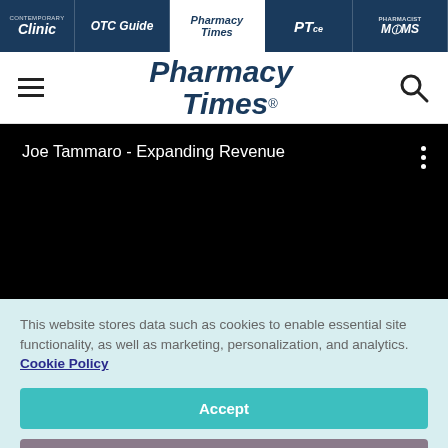Contemporary Clinic | OTC Guide | Pharmacy Times | PTce | Pharmacist Moms
[Figure (logo): Pharmacy Times logo with hamburger menu and search icon]
[Figure (screenshot): Black video player area with title 'Joe Tammaro - Expanding Revenue' and vertical dots menu]
This website stores data such as cookies to enable essential site functionality, as well as marketing, personalization, and analytics. Cookie Policy
Accept
Deny